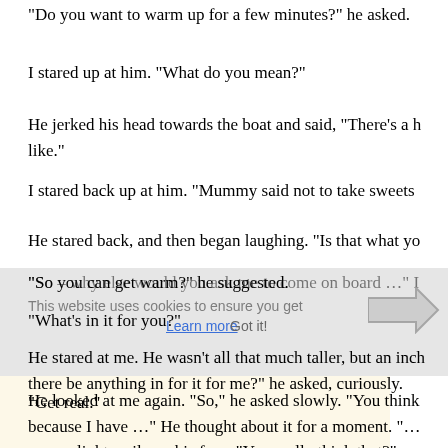"Do you want to warm up for a few minutes?" he asked.
I stared up at him. "What do you mean?"
He jerked his head towards the boat and said, "There's a h like."
I stared back up at him. "Mummy said not to take sweets
He stared back, and then began laughing. "Is that what yo
"So – why else would you ask me to come on board …" I
"So you can get warm?" he suggested.
"What's in it for you?"
He stared at me. He wasn't all that much taller, but an inch there be anything in for it for me?" he asked, curiously.
"Get real."
He looked at me again. "So," he asked slowly. "You think because I have …" He thought about it for a moment. "… was a slight smile on his face. "You really think that?"